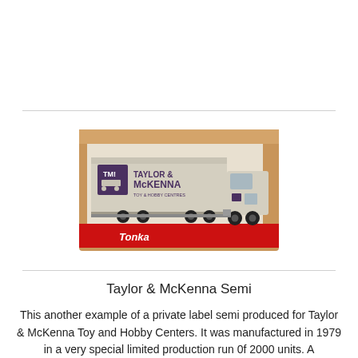[Figure (photo): A Tonka Taylor & McKenna semi truck toy in its original retail box. The box is brown/cardboard colored with a red bottom strip labeled 'Tonka'. The truck trailer is light cream/tan colored with 'TM TAYLOR & McKENNA TOY & HOBBY CENTRES' branding in dark purple/maroon lettering along the side.]
Taylor & McKenna Semi
This another example of a private label semi produced for Taylor & McKenna Toy and Hobby Centers. It was manufactured in 1979 in a very special limited production run 0f 2000 units. A